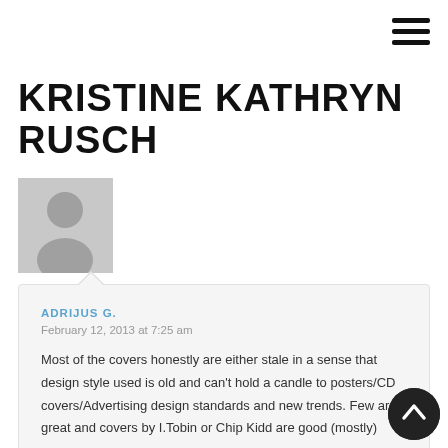[Figure (other): Hamburger menu icon (three horizontal lines) in top-right corner]
KRISTINE KATHRYN RUSCH
[Figure (photo): Default grey avatar/silhouette user profile image]
ADRIJUS G.
February 12, 2013 at 7:25 am
Most of the covers honestly are either stale in a sense that design style used is old and can't hold a candle to posters/CD covers/Advertising design standards and new trends. Few are great and covers by I.Tobin or Chip Kidd are good (mostly)